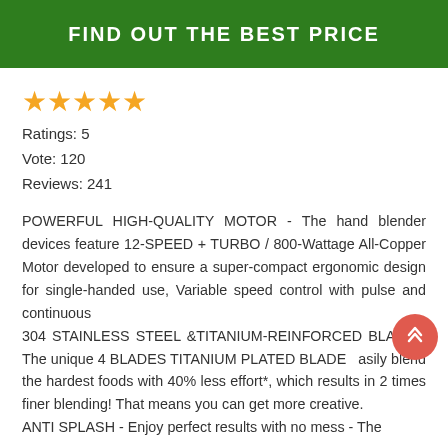FIND OUT THE BEST PRICE
[Figure (other): Five gold/orange star rating icons]
Ratings: 5
Vote: 120
Reviews: 241
POWERFUL HIGH-QUALITY MOTOR - The hand blender devices feature 12-SPEED + TURBO / 800-Wattage All-Copper Motor developed to ensure a super-compact ergonomic design for single-handed use, Variable speed control with pulse and continuous
304 STAINLESS STEEL &TITANIUM-REINFORCED BLADE - The unique 4 BLADES TITANIUM PLATED BLADE easily blend the hardest foods with 40% less effort*, which results in 2 times finer blending! That means you can get more creative.
ANTI SPLASH - Enjoy perfect results with no mess - The